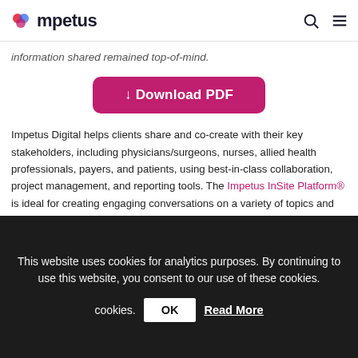Impetus
information shared remained top-of-mind.
[Figure (other): Download PDF button in magenta/pink rounded rectangle]
Impetus Digital helps clients share and co-create with their key stakeholders, including physicians/surgeons, nurses, allied health professionals, payers, and patients, using best-in-class collaboration, project management, and reporting tools. The Impetus InSite Platform® is ideal for creating engaging conversations on a variety of topics and for receiving feedback on study data, educational and training tools, and new product offerings, among many other things.
Want to visualize how the Impetus solution can work for your team? Book a demo instantly with our online scheduler!
This website uses cookies for analytics purposes. By continuing to use this website, you consent to our use of these cookies.